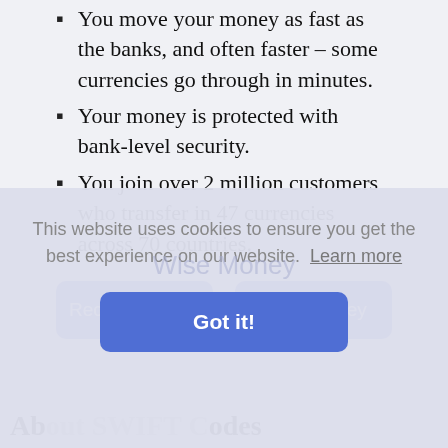You move your money as fast as the banks, and often faster – some currencies go through in minutes.
Your money is protected with bank-level security.
You join over 2 million customers who transfer in 47 currencies across 70 countries.
Receive Money | Send Money (buttons)
This website uses cookies to ensure you get the best experience on our website. Learn more
Got it!
About SWIFT Codes